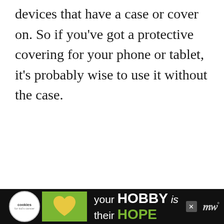devices that have a case or cover on. So if you've got a protective covering for your phone or tablet, it's probably wise to use it without the case.
[Figure (other): Advertisement placeholder box with 'ADVERTISEMENT' label in gray text on light gray background]
[Figure (other): Bottom banner advertisement: black background with Cookies for Kid's Cancer logo (white circle), green heart image, and text 'your HOBBY is their HOPE' in white and green. Close button and Merriam-Webster logo on right.]